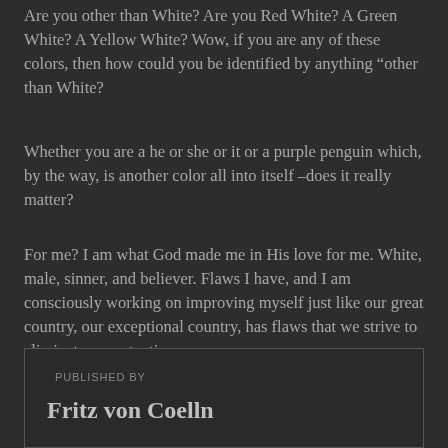Are you other than White? Are you Red White? A Green White? A Yellow White? Wow, if you are any of these colors, then how could you be identified by anything “other than White?
Whether you are a he or she or it or a purple penguin which, by the way, is another color all into itself –does it really matter?
For me? I am what God made me in His love for me. White, male, sinner, and believer. Flaws I have, and I am consciously working on improving myself just like our great country, our exceptional country, has flaws that we strive to eliminate, one at a time.
PUBLISHED BY
Fritz von Coelln